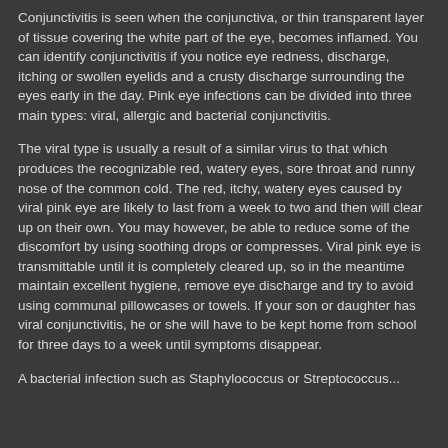Conjunctivitis is seen when the conjunctiva, or thin transparent layer of tissue covering the white part of the eye, becomes inflamed. You can identify conjunctivitis if you notice eye redness, discharge, itching or swollen eyelids and a crusty discharge surrounding the eyes early in the day. Pink eye infections can be divided into three main types: viral, allergic and bacterial conjunctivitis.
The viral type is usually a result of a similar virus to that which produces the recognizable red, watery eyes, sore throat and runny nose of the common cold. The red, itchy, watery eyes caused by viral pink eye are likely to last from a week to two and then will clear up on their own. You may however, be able to reduce some of the discomfort by using soothing drops or compresses. Viral pink eye is transmittable until it is completely cleared up, so in the meantime maintain excellent hygiene, remove eye discharge and try to avoid using communal pillowcases or towels. If your son or daughter has viral conjunctivitis, he or she will have to be kept home from school for three days to a week until symptoms disappear.
A bacterial infection such as Staphylococcus or Streptococcus...